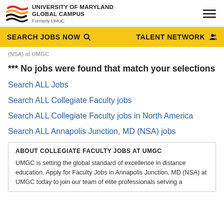[Figure (logo): University of Maryland Global Campus logo with colorful wave stripes and text 'UNIVERSITY OF MARYLAND GLOBAL CAMPUS, Formerly UMUC']
SEARCH JOBS NOW   TALENT NETWORK
(NSA) at UMGC
*** No jobs were found that match your selections
Search ALL Jobs
Search ALL Collegiate Faculty jobs
Search ALL Collegiate Faculty jobs in North America
Search ALL Annapolis Junction, MD (NSA) jobs
ABOUT COLLEGIATE FACULTY JOBS AT UMGC
UMGC is setting the global standard of excellence in distance education. Apply for Faculty Jobs in Annapolis Junction, MD (NSA) at UMGC today to join our team of elite professionals serving a